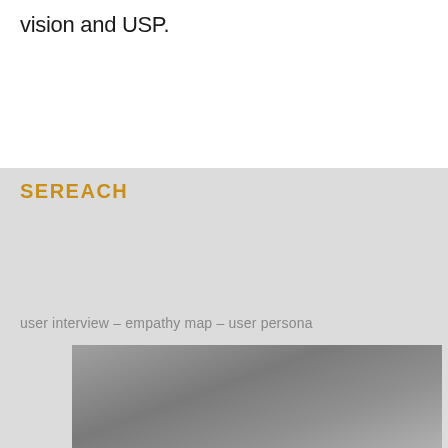vision and USP.
SEREACH
user interview – empathy map – user persona
[Figure (photo): Photograph with gradient gray background, partially visible at bottom of page]